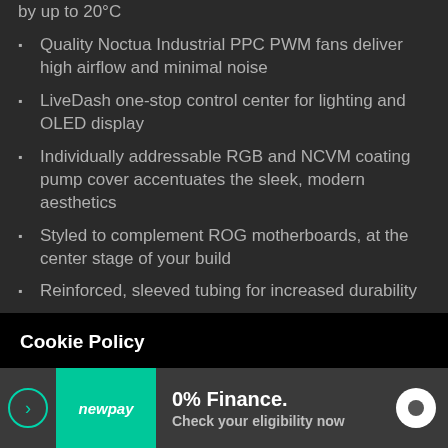by up to 20°C
Quality Noctua Industrial PPC PWM fans deliver high airflow and minimal noise
LiveDash one-stop control center for lighting and OLED display
Individually addressable RGB and NCVM coating pump cover accentuates the sleek, modern aesthetics
Styled to complement ROG motherboards, at the center stage of your build
Reinforced, sleeved tubing for increased durability
Cookie Policy
Our website uses cookies. By using our website, you consent to our use of cookies in accordance with our Cookies Policy.
0% Finance. Check your eligibility now